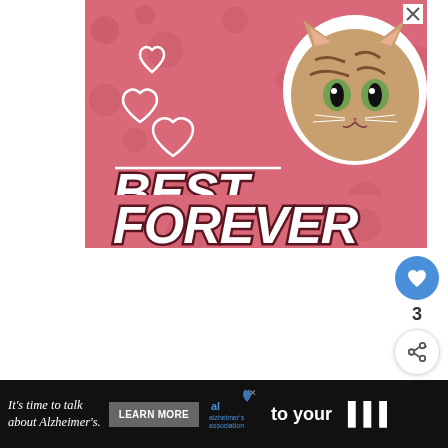[Figure (illustration): Advertisement banner with pink/rose background showing a tabby cat with white outline, white heart outlines, horizontal white line, and bold italic white text reading 'BEST FRIENDS FOREVER' with dark shadow/outline. Close X button in top right corner.]
[Figure (infographic): Like button (blue circle with heart icon) showing count of 3, and share button (white circle with share icon)]
#4: Reconnect your Kasa Device to your app
[Figure (screenshot): What's Next widget showing thumbnail and text 'Firestick Remote Not...']
[Figure (illustration): Bottom advertisement banner with dark background: 'It's time to talk about Alzheimer's.' with Learn More button, Alzheimer's Association logo with close X button, and partial page content visible on right.]